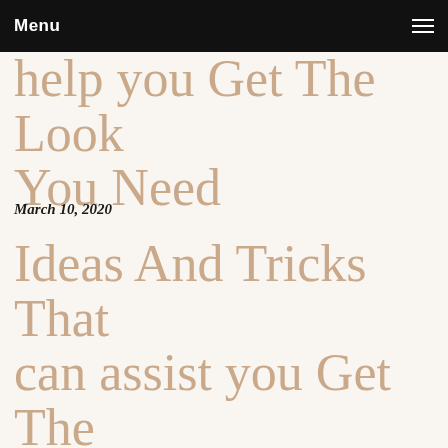Menu
help you Get The Look You Need
March 10, 2020
Ideas And Tricks That can assist you Get The Look You Want